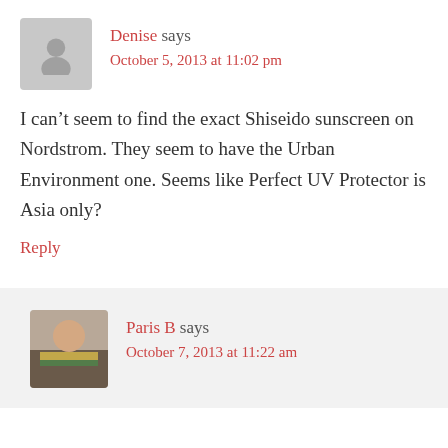Denise says
October 5, 2013 at 11:02 pm
I can’t seem to find the exact Shiseido sunscreen on Nordstrom. They seem to have the Urban Environment one. Seems like Perfect UV Protector is Asia only?
Reply
Paris B says
October 7, 2013 at 11:22 am